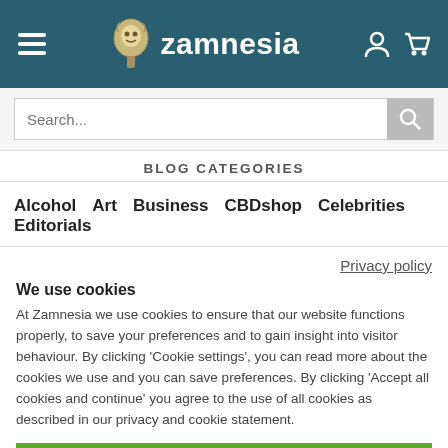[Figure (screenshot): Zamnesia website header with hamburger menu, logo with mascot icon and 'zamnesia' text, user account icon and shopping cart icon on dark teal background]
[Figure (screenshot): Search bar with placeholder text 'Search...' and search button]
BLOG CATEGORIES
Alcohol  Art  Business  CBDshop  Celebrities  Editorials
Privacy policy
We use cookies
At Zamnesia we use cookies to ensure that our website functions properly, to save your preferences and to gain insight into visitor behaviour. By clicking 'Cookie settings', you can read more about the cookies we use and you can save preferences. By clicking 'Accept all cookies and continue' you agree to the use of all cookies as described in our privacy and cookie statement.
Accept all cookies and continue
Cookie settings